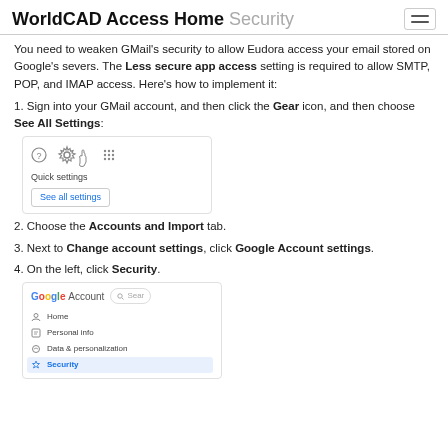WorldCAD Access Home Security
You need to weaken GMail's security to allow Eudora access your email stored on Google's severs. The Less secure app access setting is required to allow SMTP, POP, and IMAP access. Here's how to implement it:
1. Sign into your GMail account, and then click the Gear icon, and then choose See All Settings:
[Figure (screenshot): Gmail settings screenshot showing gear icon with cursor and grid icon, Quick settings panel with 'See all settings' button]
2. Choose the Accounts and Import tab.
3. Next to Change account settings, click Google Account settings.
4. On the left, click Security.
[Figure (screenshot): Google Account navigation panel showing Home, Personal info, Data & personalization, and Security (highlighted/active) menu items with a search bar]